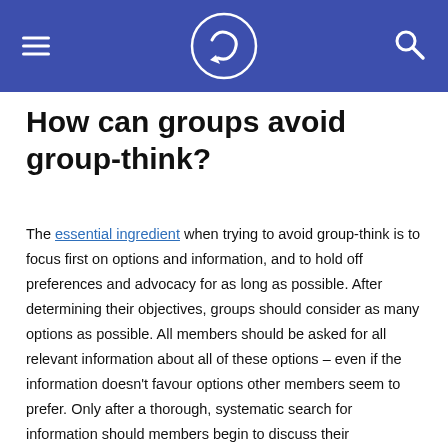[Figure (logo): Website header bar with hamburger menu icon on left, circular logo with arrow symbol in center, and search icon on right, all on blue/indigo background]
How can groups avoid group-think?
The essential ingredient when trying to avoid group-think is to focus first on options and information, and to hold off preferences and advocacy for as long as possible. After determining their objectives, groups should consider as many options as possible. All members should be asked for all relevant information about all of these options – even if the information doesn't favour options other members seem to prefer. Only after a thorough, systematic search for information should members begin to discuss their preferences or advocate for one option over another.